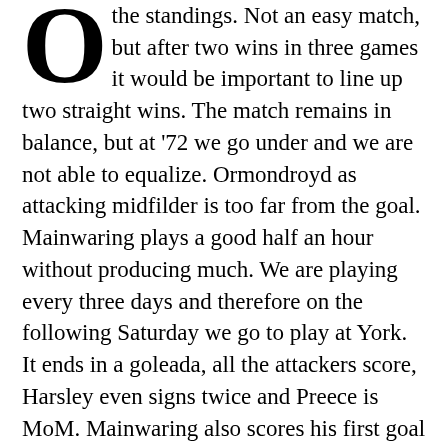the standings. Not an easy match, but after two wins in three games it would be important to line up two straight wins. The match remains in balance, but at '72 we go under and we are not able to equalize. Ormondroyd as attacking midfilder is too far from the goal. Mainwaring plays a good half an hour without producing much. We are playing every three days and therefore on the following Saturday we go to play at York. It ends in a goleada, all the attackers score, Harsley even signs twice and Preece is MoM. Mainwaring also scores his first goal as senior player. We are now back to 13th position.
The following game on the group of the Windscreen Shield trophy takes place on the following Wednesday and we play against Preston, a second division's team. Due the lower importance of the tournament compared to the championship, I make some changes: I place Hope in place of Wilcox and